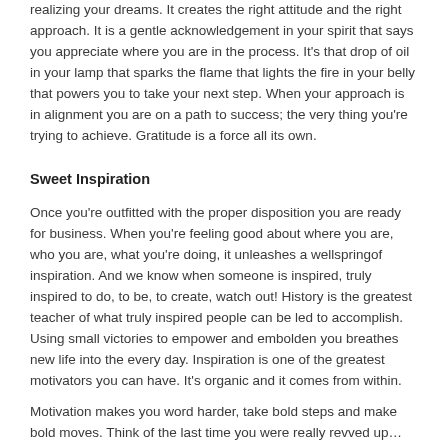realizing your dreams. It creates the right attitude and the right approach. It is a gentle acknowledgement in your spirit that says you appreciate where you are in the process. It's that drop of oil in your lamp that sparks the flame that lights the fire in your belly that powers you to take your next step. When your approach is in alignment you are on a path to success; the very thing you're trying to achieve. Gratitude is a force all its own.
Sweet Inspiration
Once you're outfitted with the proper disposition you are ready for business. When you're feeling good about where you are, who you are, what you're doing, it unleashes a wellspringof inspiration. And we know when someone is inspired, truly inspired to do, to be, to create, watch out! History is the greatest teacher of what truly inspired people can be led to accomplish. Using small victories to empower and embolden you breathes new life into the every day. Inspiration is one of the greatest motivators you can have. It's organic and it comes from within.
Motivation makes you word harder, take bold steps and make bold moves. Think of the last time you were really revved up…